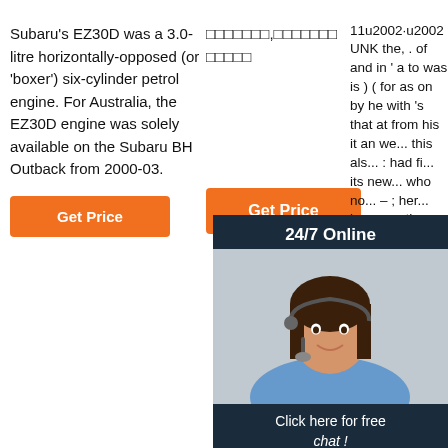Subaru's EZ30D was a 3.0-litre horizontally-opposed (or 'boxer') six-cylinder petrol engine. For Australia, the EZ30D engine was solely available on the Subaru BH Outback from 2000-03.
[Figure (other): Orange 'Get Price' button]
□□□□□□□,□□□□□□□□□□
[Figure (other): Orange 'Get Price' button (second)]
11u2002·u2002UNK the, . of and in ' a to was is ) ( for as on by he with 's that at from his it an we... this als... : had fi... its new... who no... – ; her... been c... there a... into sc... may ye... most only over city some world would where later up such used ma... can state about national out known university
[Figure (photo): 24/7 Online chat overlay with woman wearing headset, dark blue background, orange QUOTATION button]
[Figure (logo): TOP logo with orange dots]